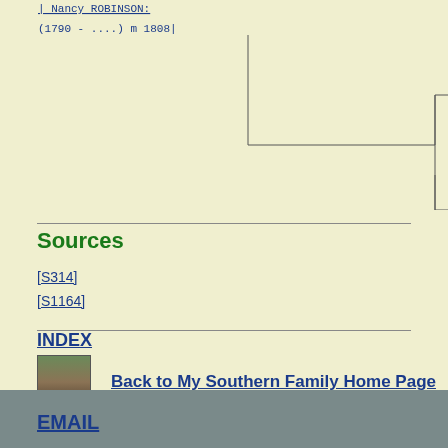[Figure (other): Genealogy family tree diagram with connecting lines, showing Nancy Robinson (1790 - ....) m 1808]
Sources
[S314]
[S1164]
INDEX
Back to My Southern Family Home Page
EMAIL